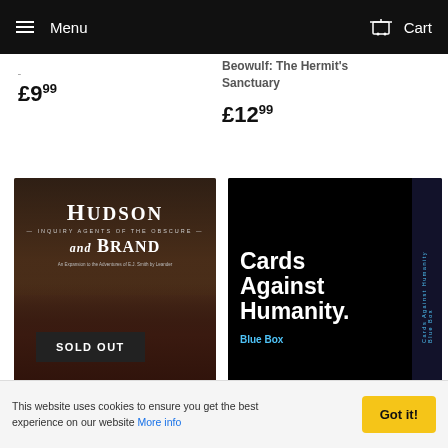Menu  Cart
£9.99
Beowulf: The Hermit's Sanctuary
£12.99
[Figure (photo): Hudson and Brand book cover with SOLD OUT badge]
[Figure (photo): Cards Against Humanity Blue Box product image]
This website uses cookies to ensure you get the best experience on our website More info  Got it!